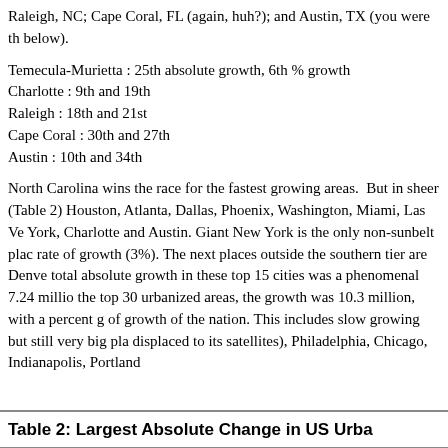Raleigh, NC; Cape Coral, FL (again, huh?); and Austin, TX (you were th below).
Temecula-Murietta : 25th absolute growth, 6th % growth
Charlotte : 9th and 19th
Raleigh : 18th and 21st
Cape Coral : 30th and 27th
Austin : 10th and 34th
North Carolina wins the race for the fastest growing areas. But in sheer (Table 2) Houston, Atlanta, Dallas, Phoenix, Washington, Miami, Las Ve York, Charlotte and Austin. Giant New York is the only non-sunbelt plac rate of growth (3%). The next places outside the southern tier are Denve total absolute growth in these top 15 cities was a phenomenal 7.24 millio the top 30 urbanized areas, the growth was 10.3 million, with a percent g of growth of the nation. This includes slow growing but still very big pla displaced to its satellites), Philadelphia, Chicago, Indianapolis, Portland
| Table 2: Largest Absolute Change in US Urba |
| --- |